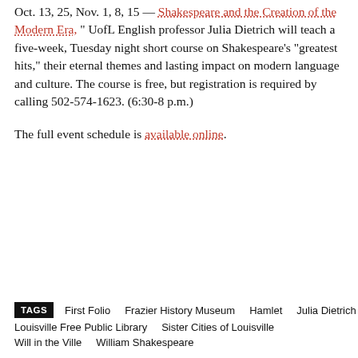Oct. 13, 25, Nov. 1, 8, 15 — Shakespeare and the Creation of the Modern Era, " UofL English professor Julia Dietrich will teach a five-week, Tuesday night short course on Shakespeare's "greatest hits," their eternal themes and lasting impact on modern language and culture. The course is free, but registration is required by calling 502-574-1623. (6:30-8 p.m.)
The full event schedule is available online.
TAGS: First Folio  Frazier History Museum  Hamlet  Julia Dietrich  Louisville Free Public Library  Sister Cities of Louisville  Will in the Ville  William Shakespeare